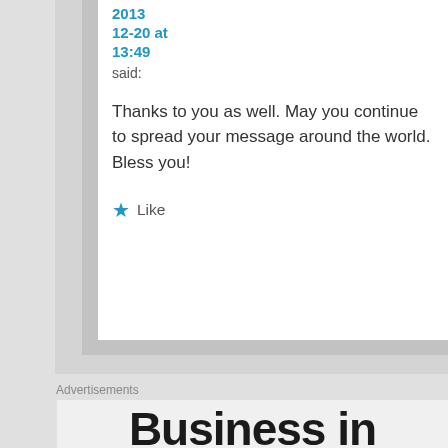2013 12-20 at 13:49
said:
Thanks to you as well. May you continue to spread your message around the world. Bless you!
Like
Advertisements
Business in